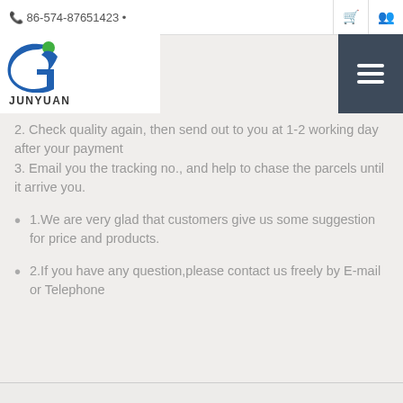📞 86-574-87651423 •
[Figure (logo): Junyuan company logo with stylized G and figure, text JUNYUAN below]
2. Check quality again, then send out to you at 1-2 working day after your payment
3. Email you the tracking no., and help to chase the parcels until it arrive you.
1.We are very glad that customers give us some suggestion for price and products.
2.If you have any question,please contact us freely by E-mail or Telephone